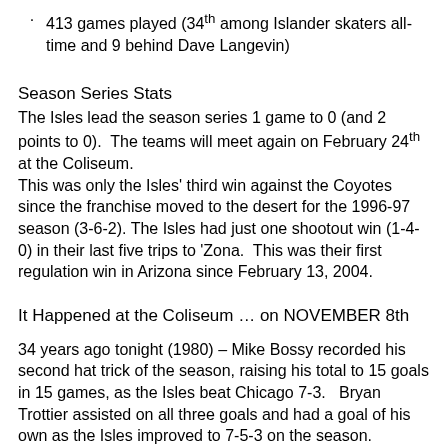413 games played (34th among Islander skaters all-time and 9 behind Dave Langevin)
Season Series Stats
The Isles lead the season series 1 game to 0 (and 2 points to 0).  The teams will meet again on February 24th at the Coliseum.
This was only the Isles' third win against the Coyotes since the franchise moved to the desert for the 1996-97 season (3-6-2). The Isles had just one shootout win (1-4-0) in their last five trips to 'Zona.  This was their first regulation win in Arizona since February 13, 2004.
It Happened at the Coliseum … on NOVEMBER 8th
34 years ago tonight (1980) – Mike Bossy recorded his second hat trick of the season, raising his total to 15 goals in 15 games, as the Isles beat Chicago 7-3.   Bryan Trottier assisted on all three goals and had a goal of his own as the Isles improved to 7-5-3 on the season.
Bossy's hat trick gave him five goals in the last two games;